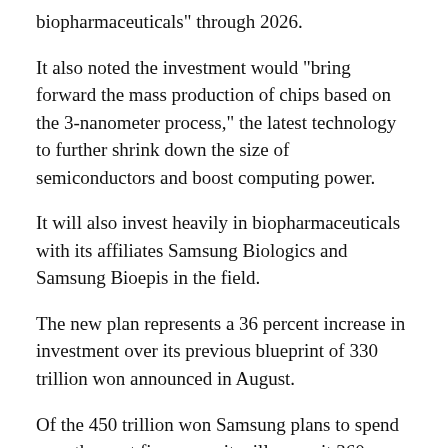biopharmaceuticals" through 2026.
It also noted the investment would "bring forward the mass production of chips based on the 3-nanometer process," the latest technology to further shrink down the size of semiconductors and boost computing power.
It will also invest heavily in biopharmaceuticals with its affiliates Samsung Biologics and Samsung Bioepis in the field.
The new plan represents a 36 percent increase in investment over its previous blueprint of 330 trillion won announced in August.
Of the 450 trillion won Samsung plans to spend over the next five years, it will commit 360 billion won to South Korea.
The announcement comes after President Joe Biden toured Samsung Electronics' massive Pyeongtaek semiconductor factory on Friday, underscoring the South Korean company's role in securing global supply chains of microchips, on his